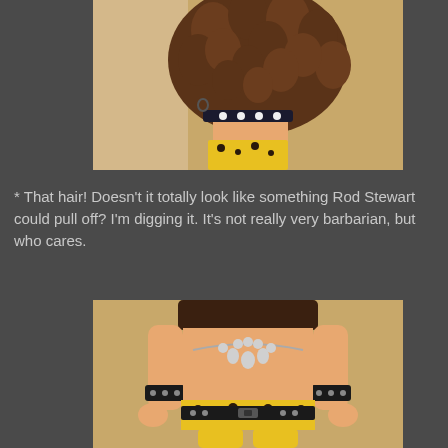[Figure (photo): Close-up photo from above/behind of a barbarian toy figure (Munny-style), showing elaborate sculpted brown dreadlock/chunky hair with skull decorations, leopard-print shorts, photographed on a tan surface.]
* That hair! Doesn't it totally look like something Rod Stewart could pull off? I'm digging it. It's not really very barbarian, but who cares.
[Figure (photo): Front-facing photo of a barbarian Munny toy figure showing a skull necklace, studded wristbands, leopard-print shorts with black belt, painted tattoo-style artwork on torso, orange/peach colored body.]